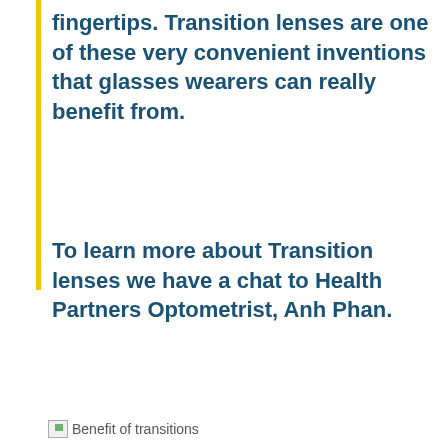fingertips. Transition lenses are one of these very convenient inventions that glasses wearers can really benefit from.
To learn more about Transition lenses we have a chat to Health Partners Optometrist, Anh Phan.
[Figure (photo): Broken/missing image placeholder labelled 'Benefit of transitions']